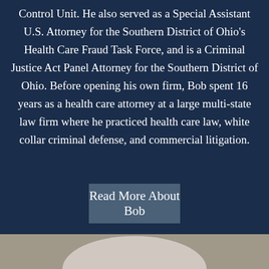Control Unit. He also served as a Special Assistant U.S. Attorney for the Southern District of Ohio's Health Care Fraud Task Force, and is a Criminal Justice Act Panel Attorney for the Southern District of Ohio. Before opening his own firm, Bob spent 16 years as a health care attorney at a large multi-state law firm where he practiced health care law, white collar criminal defense, and commercial litigation.
Read More About Bob
[Figure (photo): Bottom portion of a person wearing a light gray or white shirt, visible from approximately chest/shoulder level down, cropped at the bottom of the page.]